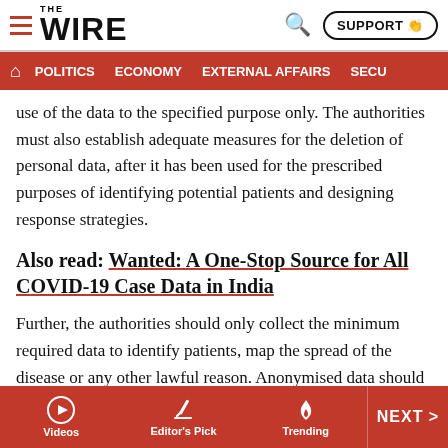THE WIRE — POLITICS | ECONOMY | EXTERNAL AFFAIRS | SECU...
use of the data to the specified purpose only. The authorities must also establish adequate measures for the deletion of personal data, after it has been used for the prescribed purposes of identifying potential patients and designing response strategies.
Also read: Wanted: A One-Stop Source for All COVID-19 Case Data in India
Further, the authorities should only collect the minimum required data to identify patients, map the spread of the disease or any other lawful reason. Anonymised data should be used by the governments as far as practicable, and all security measures must be adopted by them to
Videos | Editor's Pick | Trending | NEXT >